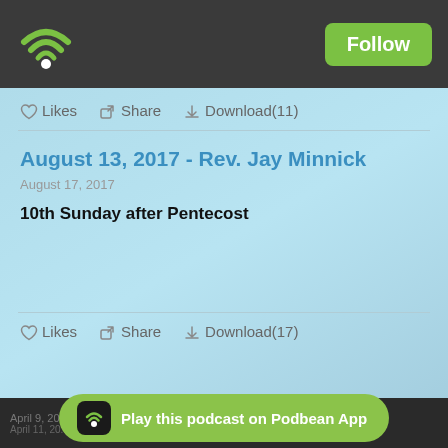[Figure (screenshot): Podbean podcast app top navigation bar with green wifi/podcast icon on left and green Follow button on right, on dark background]
♡ Likes  Share  Download(11)
August 13, 2017 - Rev. Jay Minnick
August 17, 2017
10th Sunday after Pentecost
♡ Likes  Share  Download(17)
April 9, 2017 - Rev. Jay Minnick  April 9, 2017 - Rev.
April 11, 20...
Play this podcast on Podbean App